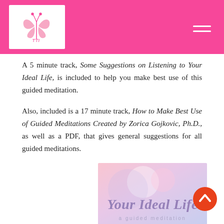TTL logo and navigation
A 5 minute track, Some Suggestions on Listening to Your Ideal Life, is included to help you make best use of this guided meditation.
Also, included is a 17 minute track, How to Make Best Use of Guided Meditations Created by Zorica Gojkovic, Ph.D., as well as a PDF, that gives general suggestions for all guided meditations.
[Figure (illustration): Book or album cover with pastel pink and blue gradient background, showing the text 'Your Ideal Life' in large purple/lavender script font and 'a guided meditation' in smaller text below.]